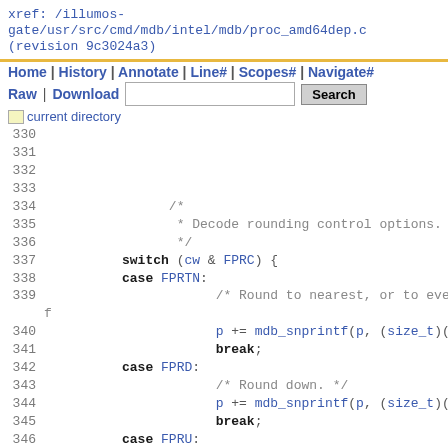xref: /illumos-gate/usr/src/cmd/mdb/intel/mdb/proc_amd64dep.c (revision 9c3024a3)
Home | History | Annotate | Line# | Scopes# | Navigate#
Raw | Download  [Search]
current directory
330
331
332
333
334
335  * Decode rounding control options.
336
337  switch (cw & FPRC) {
338  case FPRTN:
339       /* Round to nearest, or to even if
340       p += mdb_snprintf(p, (size_t)(end
341       break;
342  case FPRD:
343       /* Round down. */
344       p += mdb_snprintf(p, (size_t)(end
345       break;
346  case FPRU:
347       /* Round up. */
348       p += mdb_snprintf(p, (size_t)(end
349       break;
350  case FPCHOP:
351       /* Truncate. */
352       p += mdb_snprintf(p, (size_t)(end
353       break;
354  default: